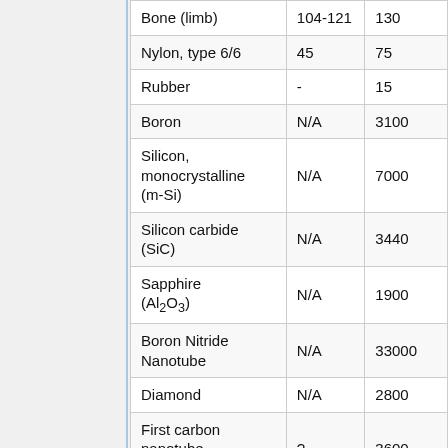| Material | Yield Strength (MPa) | Ultimate Tensile Strength (MPa) |
| --- | --- | --- |
| Bone (limb) | 104-121 | 130 |
| Nylon, type 6/6 | 45 | 75 |
| Rubber | - | 15 |
| Boron | N/A | 3100 |
| Silicon, monocrystalline (m-Si) | N/A | 7000 |
| Silicon carbide (SiC) | N/A | 3440 |
| Sapphire (Al2O3) | N/A | 1900 |
| Boron Nitride Nanotube | N/A | 33000 |
| Diamond | N/A | 2800 |
| First carbon nanotube ropes | ? | 3600 |
| Colossal... |  |  |